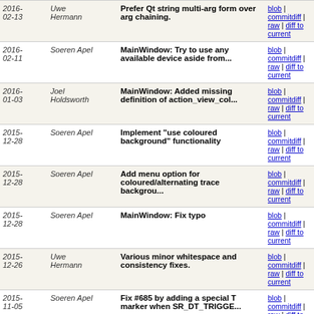| Date | Author | Message | Links |
| --- | --- | --- | --- |
| 2016-02-13 | Uwe Hermann | Prefer Qt string multi-arg form over arg chaining. | blob | commitdiff | raw | diff to current |
| 2016-02-11 | Soeren Apel | MainWindow: Try to use any available device aside from... | blob | commitdiff | raw | diff to current |
| 2016-01-03 | Joel Holdsworth | MainWindow: Added missing definition of action_view_col... | blob | commitdiff | raw | diff to current |
| 2015-12-28 | Soeren Apel | Implement "use coloured background" functionality | blob | commitdiff | raw | diff to current |
| 2015-12-28 | Soeren Apel | Add menu option for coloured/alternating trace backgrou... | blob | commitdiff | raw | diff to current |
| 2015-12-28 | Soeren Apel | MainWindow: Fix typo | blob | commitdiff | raw | diff to current |
| 2015-12-26 | Uwe Hermann | Various minor whitespace and consistency fixes. | blob | commitdiff | raw | diff to current |
| 2015-11-05 | Soeren Apel | Fix #685 by adding a special T marker when SR_DT_TRIGGE... | blob | commitdiff | raw | diff to current |
| 2015-11-04 | Uwe Hermann | Minor whitespace cosmetics. | blob | commitdiff | raw | diff to current |
| 2015-11-04 | Soeren Apel | MainWindow: Merge save_selection_to_file() back into... | blob | commitdiff | raw | diff to current |